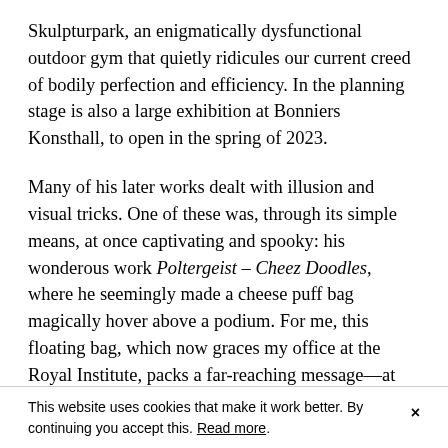Skulpturpark, an enigmatically dysfunctional outdoor gym that quietly ridicules our current creed of bodily perfection and efficiency. In the planning stage is also a large exhibition at Bonniers Konsthall, to open in the spring of 2023.
Many of his later works dealt with illusion and visual tricks. One of these was, through its simple means, at once captivating and spooky: his wonderous work Poltergeist – Cheez Doodles, where he seemingly made a cheese puff bag magically hover above a podium. For me, this floating bag, which now graces my office at the Royal Institute, packs a far-reaching message—at once utterly ordinary, yet impossible—from Peter Geschwind to us all: in the world of art, everything is, and shall be, possible.
This website uses cookies that make it work better. By continuing you accept this. Read more.